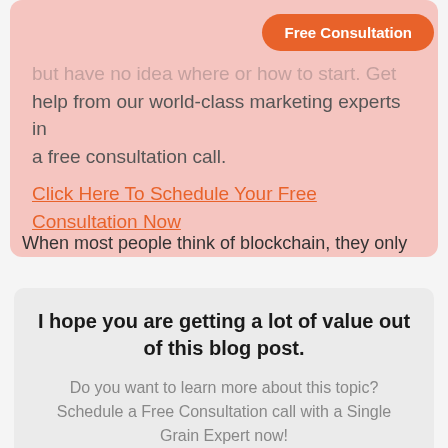Free Consultation
but have no idea where or how to start. Get help from our world-class marketing experts in a free consultation call. Click Here To Schedule Your Free Consultation Now
When most people think of blockchain, they only
I hope you are getting a lot of value out of this blog post.
Do you want to learn more about this topic? Schedule a Free Consultation call with a Single Grain Expert now!
Book a call